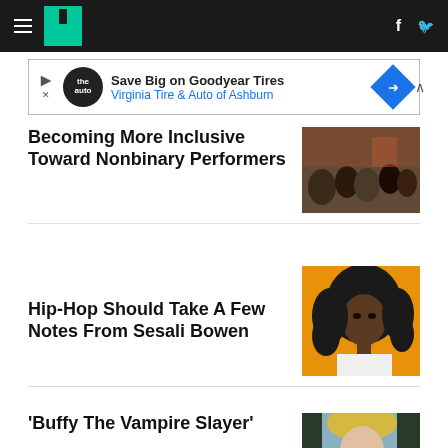HuffPost navigation with hamburger menu, logo, Facebook and Twitter icons
[Figure (screenshot): Advertisement banner: Save Big on Goodyear Tires - Virginia Tire & Auto of Ashburn]
Becoming More Inclusive Toward Nonbinary Performers
[Figure (photo): Photo of people at a formal event/gala, crowded room with warm lighting]
Hip-Hop Should Take A Few Notes From Sesali Bowen
[Figure (photo): Black and white portrait of Sesali Bowen on orange background, woman with curly hair]
'Buffy The Vampire Slayer'
[Figure (photo): Partial photo of a blonde woman, appears to be from Buffy The Vampire Slayer]